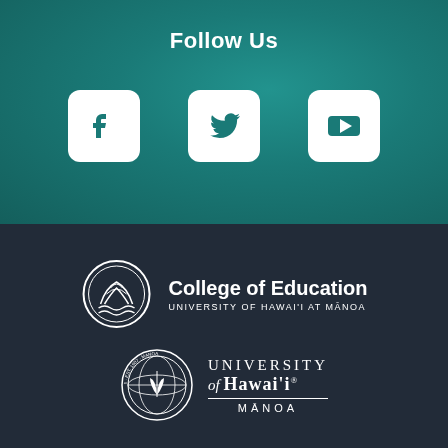Follow Us
[Figure (logo): Facebook icon in white rounded square box]
[Figure (logo): Twitter bird icon in white rounded square box]
[Figure (logo): YouTube play button icon in white rounded square box]
[Figure (logo): College of Education, University of Hawai'i at Manoa logo with circular mountain and wave emblem]
[Figure (logo): University of Hawai'i Manoa circular seal logo with globe and plant/leaf design]